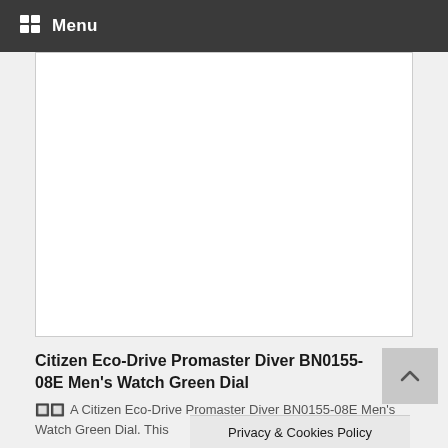Menu
[Figure (photo): White rectangular image placeholder area for product photo]
Citizen Eco-Drive Promaster Diver BN0155-08E Men's Watch Green Dial
🔲🔲 A Citizen Eco-Drive Promaster Diver BN0155-08E Men's Watch Green Dial. This
Privacy & Cookies Policy